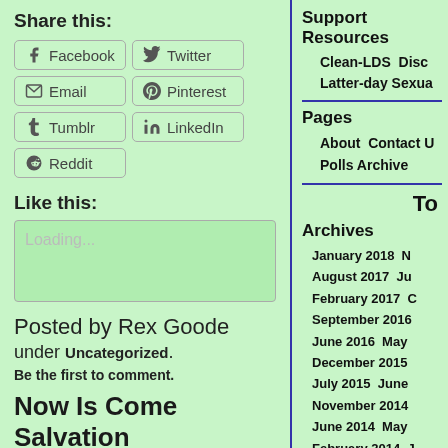Share this:
Facebook
Twitter
Email
Pinterest
Tumblr
LinkedIn
Reddit
Like this:
Loading...
Posted by Rex Goode
under Uncategorized.
Be the first to comment.
Now Is Come Salvation
May 19th, 2008
Support Resources
Clean-LDS  Disc
Latter-day Sexua
Pages
About  Contact U
Polls Archive
To
Archives
January 2018  N
August 2017  Ju
February 2017  C
September 2016
June 2016  May
December 2015
July 2015  June
November 2014
June 2014  May
February 2014  J
December 2013
September 2013
July 2013  April
February 2013  J
December 2012